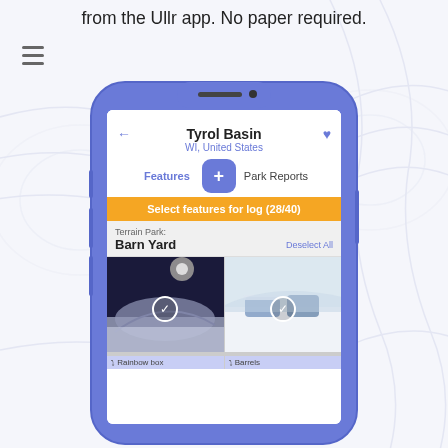from the Ullr app. No paper required.
[Figure (screenshot): A smartphone mockup showing the Ullr app screen for Tyrol Basin, WI, United States. The screen shows Features and Park Reports tabs, a + button, an orange bar reading 'Select features for log (28/40)', a Terrain Park section labeled 'Barn Yard' with a 'Deselect All' link, and two photo tiles (Rainbow box and Barrels) with white circle checkmarks.]